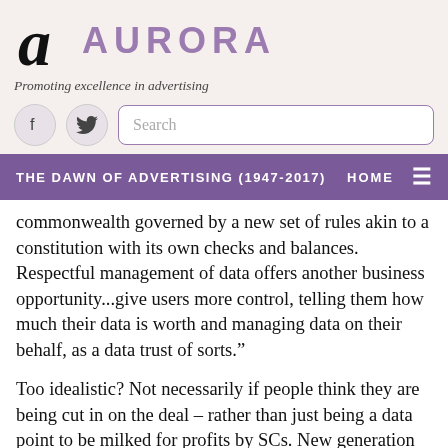[Figure (logo): Aurora logo: stylized letter 'a' in black, followed by 'AURORA' in purple uppercase letters]
Promoting excellence in advertising
[Figure (other): Social media icons (Facebook, Twitter) and a search bar]
THE DAWN OF ADVERTISING (1947-2017)    HOME    ≡
commonwealth governed by a new set of rules akin to a constitution with its own checks and balances. Respectful management of data offers another business opportunity...give users more control, telling them how much their data is worth and managing data on their behalf, as a data trust of sorts."
Too idealistic? Not necessarily if people think they are being cut in on the deal – rather than just being a data point to be milked for profits by SCs. New generation platforms would still have to contend with governments who quite like SCs as they can be